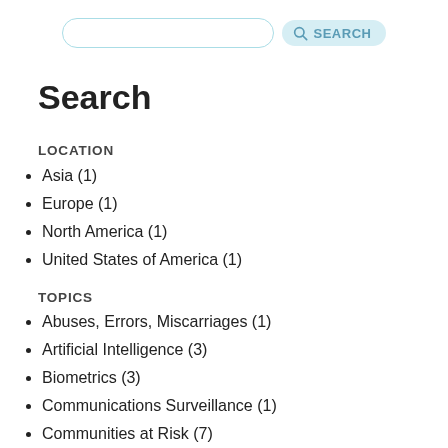[Figure (other): Search input field and search button in a navigation bar at the top of the page]
Search
LOCATION
Asia (1)
Europe (1)
North America (1)
United States of America (1)
TOPICS
Abuses, Errors, Miscarriages (1)
Artificial Intelligence (3)
Biometrics (3)
Communications Surveillance (1)
Communities at Risk (7)